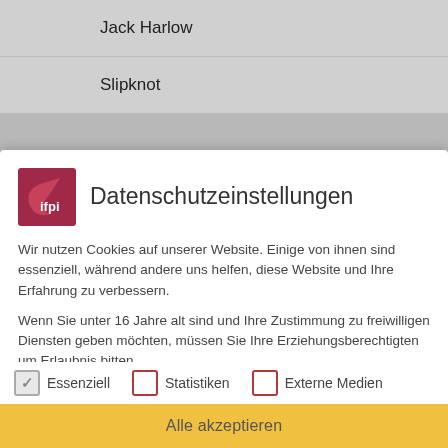Jack Harlow
Slipknot
Datenschutzeinstellungen
Wir nutzen Cookies auf unserer Website. Einige von ihnen sind essenziell, während andere uns helfen, diese Website und Ihre Erfahrung zu verbessern.
Wenn Sie unter 16 Jahre alt sind und Ihre Zustimmung zu freiwilligen Diensten geben möchten, müssen Sie Ihre Erziehungsberechtigten um Erlaubnis bitten.
Wir verwenden Cookies und andere Technologien auf unserer Website. Einige von ihnen sind essenziell, während andere uns helfen, diese Website und Ihre Erfahrung zu verbessern. Personenbezogene Daten können verarbeitet werden (z. B. IP-Adressen), z. B. für personalisierte Anzeigen und Inhalte oder
Essenziell   Statistiken   Externe Medien
Alle akzeptieren